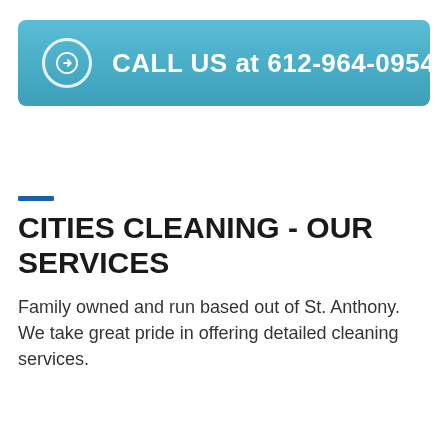CALL US at 612-964-0954
CITIES CLEANING - OUR SERVICES
Family owned and run based out of St. Anthony. We take great pride in offering detailed cleaning services.